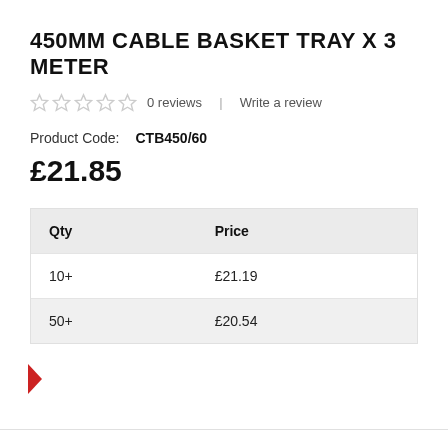450MM CABLE BASKET TRAY X 3 METER
0 reviews | Write a review
Product Code: CTB450/60
£21.85
| Qty | Price |
| --- | --- |
| 10+ | £21.19 |
| 50+ | £20.54 |